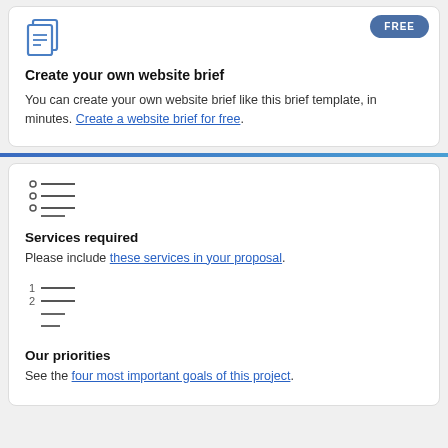[Figure (illustration): Document icon — two overlapping rectangles with lines, blue outline style]
Create your own website brief
You can create your own website brief like this brief template, in minutes. Create a website brief for free.
[Figure (illustration): Bulleted list icon with three circle bullets and horizontal lines]
Services required
Please include these services in your proposal.
[Figure (illustration): Numbered list icon with items 1 and 2 and horizontal lines]
Our priorities
See the four most important goals of this project.